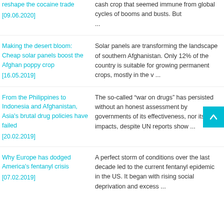reshape the cocaine trade [09.06.2020] | cash crop that seemed immune from global cycles of booms and busts. But ...
Making the desert bloom: Cheap solar panels boost the Afghan poppy crop [16.05.2019] | Solar panels are transforming the landscape of southern Afghanistan. Only 12% of the country is suitable for growing permanent crops, mostly in the v ...
From the Philippines to Indonesia and Afghanistan, Asia's brutal drug policies have failed [20.02.2019] | The so-called “war on drugs” has persisted without an honest assessment by governments of its effectiveness, nor its impacts, despite UN reports show ...
Why Europe has dodged America’s fentanyl crisis [07.02.2019] | A perfect storm of conditions over the last decade led to the current fentanyl epidemic in the US. It began with rising social deprivation and excess ...